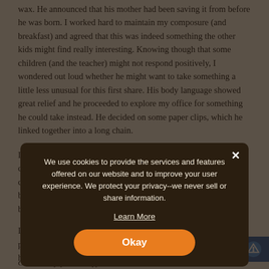wax. He announced that his mother had been saving it from before he was born. I worked hard to maintain my composure (and breakfast) and agreed that this was indeed something the other kids might find really interesting. Knowing though that some children (and the teacher) might not respond positively, I wondered out loud whether he might want to take something a little less unusual for this first share. His body language showed great relief and he proceeded to explore my office for something he could take instead. He decided on some paper clips, which he linked together into a long chain.
I passed the change in plans on to his mother and, although confused that there could be potential controversy, she complimented the adjustment and specifically asked if he could bring the paper clips back since he had made them in the break between our sessions.
I have had the great fortune of working with this young man periodically throughout the years as various issues have arisen for him. I'm so glad to observe and listen
Caseschild psychotherapy case
We use cookies to provide the services and features offered on our website and to improve your user experience. We protect your privacy--we never sell or share information.
Learn More
Okay